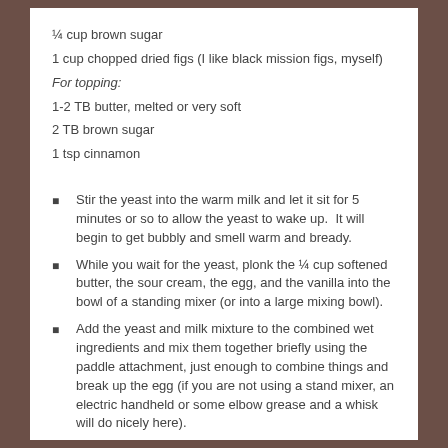¼ cup brown sugar
1 cup chopped dried figs (I like black mission figs, myself)
For topping:
1-2 TB butter, melted or very soft
2 TB brown sugar
1 tsp cinnamon
Stir the yeast into the warm milk and let it sit for 5 minutes or so to allow the yeast to wake up.  It will begin to get bubbly and smell warm and bready.
While you wait for the yeast, plonk the ¼ cup softened butter, the sour cream, the egg, and the vanilla into the bowl of a standing mixer (or into a large mixing bowl).
Add the yeast and milk mixture to the combined wet ingredients and mix them together briefly using the paddle attachment, just enough to combine things and break up the egg (if you are not using a stand mixer, an electric handheld or some elbow grease and a whisk will do nicely here).